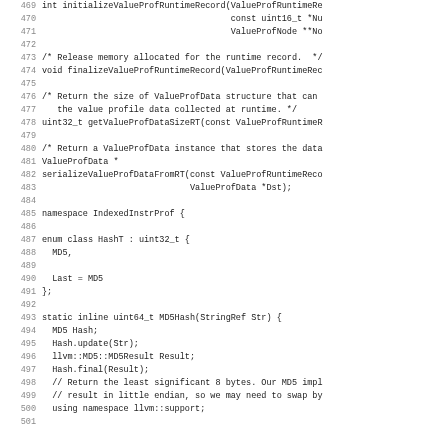Code listing: lines 469-501, C++ source code for value profiling runtime functions and IndexedInstrProf namespace